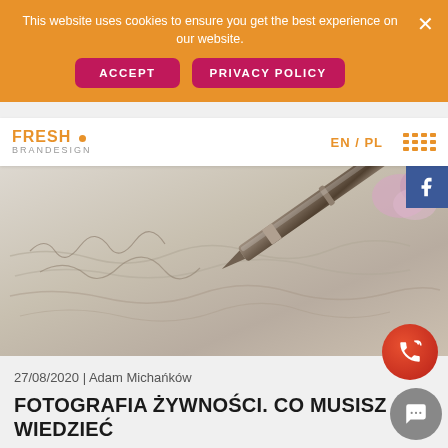This website uses cookies to ensure you get the best experience on our website.
ACCEPT   PRIVACY POLICY
[Figure (logo): FRESH BRANDESIGN logo in orange and grey]
EN / PL
[Figure (photo): Close-up photo of a fountain pen writing cursive handwriting on paper]
27/08/2020 | Adam Michańków
FOTOGRAFIA ŻYWNOŚCI. CO MUSISZ WIEDZIEĆ